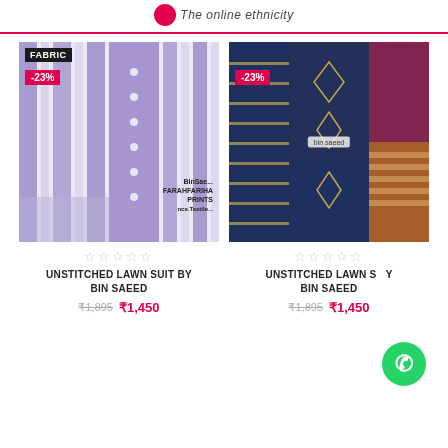The online ethnicity
[Figure (photo): Purple and white printed lawn fabric unstitched suit with -23% discount badge and FABRIC label]
[Figure (photo): Navy blue printed lawn fabric unstitched suit by Bin Saeed with -23% discount badge]
★★★★★
★★★★★
UNSTITCHED LAWN SUIT BY BIN SAEED
UNSTITCHED LAWN SUIT BY BIN SAEED
₹1,895  ₹1,450
₹1,895  ₹1,450